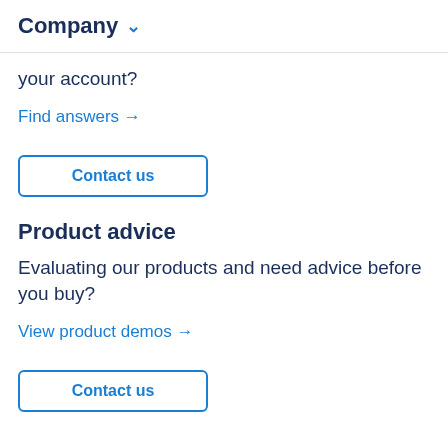Company
your account?
Find answers →
Contact us
Product advice
Evaluating our products and need advice before you buy?
View product demos →
Contact us